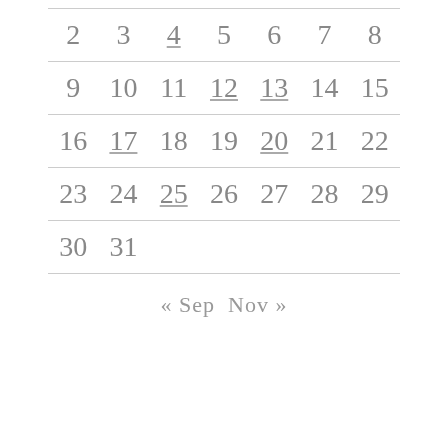| Sun | Mon | Tue | Wed | Thu | Fri | Sat |
| --- | --- | --- | --- | --- | --- | --- |
| 2 | 3 | 4 | 5 | 6 | 7 | 8 |
| 9 | 10 | 11 | 12 | 13 | 14 | 15 |
| 16 | 17 | 18 | 19 | 20 | 21 | 22 |
| 23 | 24 | 25 | 26 | 27 | 28 | 29 |
| 30 | 31 |  |  |  |  |  |
« Sep  Nov »